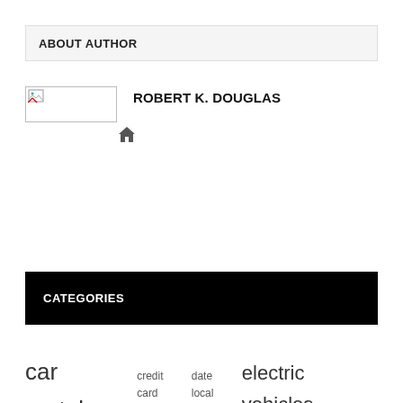ABOUT AUTHOR
[Figure (photo): Broken image placeholder for author photo next to name ROBERT K. DOUGLAS]
ROBERT K. DOUGLAS
[Figure (other): Home icon (house symbol)]
Comments are closed.
CATEGORIES
car rentals  credit card  date local  electric vehicles  euro weekly  international news  local international  long term